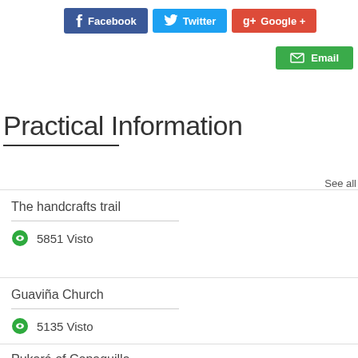[Figure (infographic): Social sharing buttons: Facebook (blue), Twitter (cyan), Google+ (red), Email (green)]
Practical Information
See all
The handcrafts trail
5851 Visto
Guaviña Church
5135 Visto
Pukará of Copaquilla